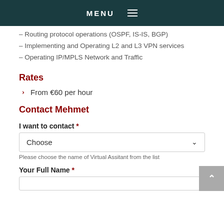MENU
– Routing protocol operations (OSPF, IS-IS, BGP)
– Implementing and Operating L2 and L3 VPN services
– Operating IP/MPLS Network and Traffic
Rates
From €60 per hour
Contact Mehmet
I want to contact *
Choose
Please choose the name of Virtual Assitant from the list
Your Full Name *